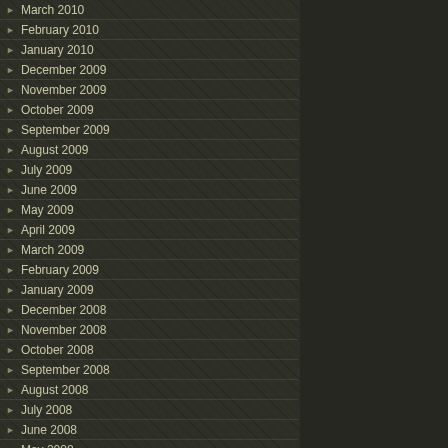March 2010
February 2010
January 2010
December 2009
November 2009
October 2009
September 2009
August 2009
July 2009
June 2009
May 2009
April 2009
March 2009
February 2009
January 2009
December 2008
November 2008
October 2008
September 2008
August 2008
July 2008
June 2008
May 2008
April 2008